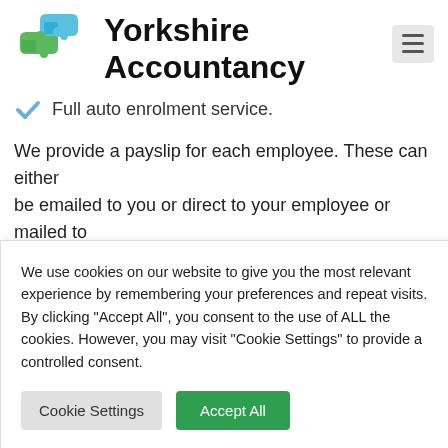[Figure (logo): Yorkshire Accountancy logo with interlocking blue and green puzzle pieces]
Yorkshire Accountancy
Full auto enrolment service.
We provide a payslip for each employee. These can either be emailed to you or direct to your employee or mailed to
l fee we can payslip directly.
roll
Customs
We use cookies on our website to give you the most relevant experience by remembering your preferences and repeat visits. By clicking "Accept All", you consent to the use of ALL the cookies. However, you may visit "Cookie Settings" to provide a controlled consent.